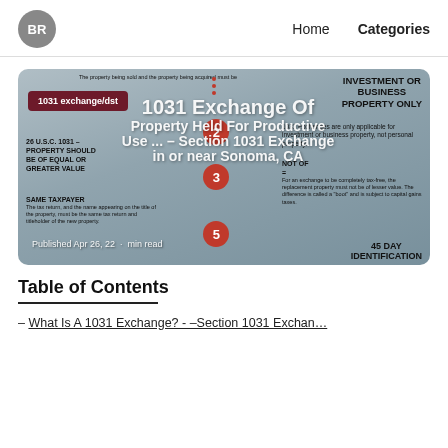BR  Home  Categories
[Figure (infographic): 1031 exchange infographic showing rules: Investment or Business Property Only, 1031 exchange/dst tag, numbered circles (2,3,5), property exchange arrows, same taxpayer rule, 45 day identification, boot/replacement property info]
1031 Exchange Of Property Held For Productive Use ... – Section 1031 Exchange in or near Sonoma, CA
Published Apr 26, 22  ·  min read
Table of Contents
– What Is A 1031 Exchange? - –Section 1031 Exchan…